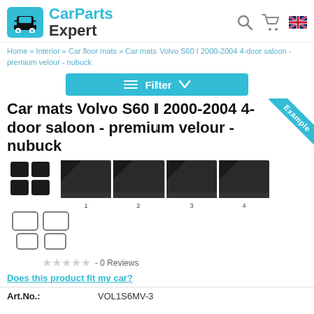[Figure (logo): CarParts Expert logo with teal car icon and teal/black text]
Home » Interior » Car floor mats » Car mats Volvo S60 I 2000-2004 4-door saloon - premium velour - nubuck
[Figure (other): Filter button with teal background, lines icon and checkmark]
Car mats Volvo S60 I 2000-2004 4-door saloon - premium velour - nubuck
[Figure (photo): Product thumbnails: main set icon and 4 numbered close-up photos of car floor mat edges, plus outline drawing of mat set]
★★★★★ - 0 Reviews
Does this product fit my car?
| Art.No.: |  |
| --- | --- |
| Art.No.: | VOL1S6MV-3 |